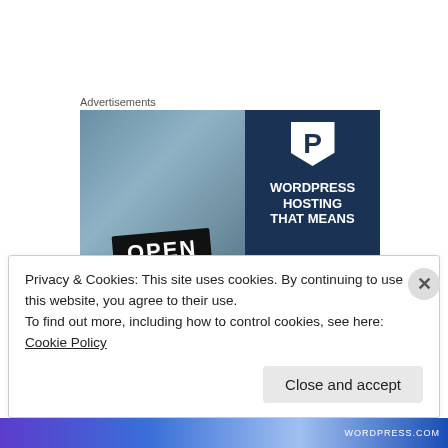Advertisements
[Figure (photo): WordPress Hosting advertisement banner showing a smiling woman holding an OPEN sign on the left (photo), and on the right a dark navy background with a P logo and text WORDPRESS HOSTING THAT MEANS]
Maya Guesthouse Project on February 1, 2012 at
Privacy & Cookies: This site uses cookies. By continuing to use this website, you agree to their use.
To find out more, including how to control cookies, see here: Cookie Policy
Close and accept